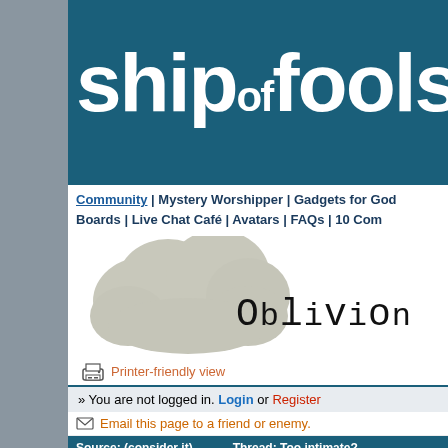ship of fools.com
Community | Mystery Worshipper | Gadgets for God... Boards | Live Chat Café | Avatars | FAQs | 10 Com...
[Figure (illustration): A large grey cloud shape on white background with the word 'Oblivion' written in mixed-size typewriter font to the right of the cloud]
Printer-friendly view
» You are not logged in. Login or Register
Email this page to a friend or enemy.
Source: (consider it)   Thread: Too intimate?